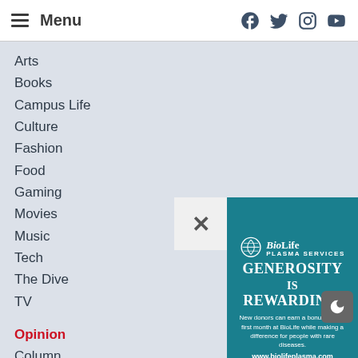Menu | Facebook Twitter Instagram YouTube
Arts
Books
Campus Life
Culture
Fashion
Food
Gaming
Movies
Music
Tech
The Dive
TV
Opinion
Column
Guest Column
Staff Editorial
Cartoon
[Figure (infographic): BioLife Plasma Services advertisement. Logo with spiral graphic. Headline: GENEROSITY is REWARDING. Subtext: New donors can earn a bonus in their first month at BioLife while making a difference for people with rare diseases. URL: www.biolifeplasma.com]